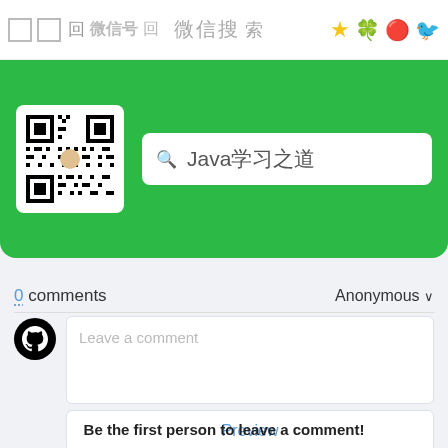[Figure (screenshot): Top navigation bar with square icons, QR code thumbnail, WeChat promo banner with QR code and Java学习之道 search box on green background]
0 comments
Anonymous ∨
[Figure (screenshot): GitHub Octocat avatar icon (black circle logo)]
Leave a comment
Preview
Login with GitHub
Be the first person to leave a comment!